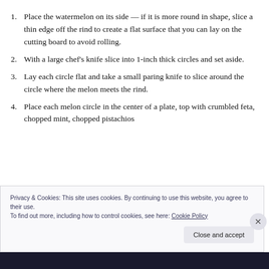Place the watermelon on its side — if it is more round in shape, slice a thin edge off the rind to create a flat surface that you can lay on the cutting board to avoid rolling.
With a large chef’s knife slice into 1-inch thick circles and set aside.
Lay each circle flat and take a small paring knife to slice around the circle where the melon meets the rind.
Place each melon circle in the center of a plate, top with crumbled feta, chopped mint, chopped pistachios
Privacy & Cookies: This site uses cookies. By continuing to use this website, you agree to their use.
To find out more, including how to control cookies, see here: Cookie Policy